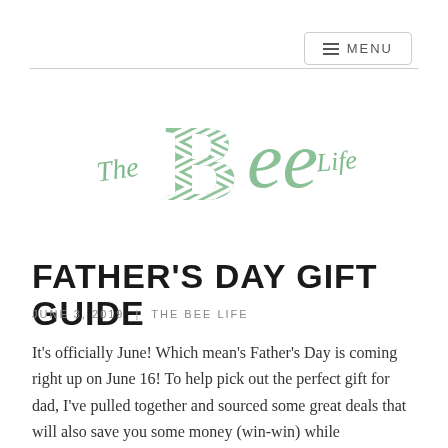≡ MENU
[Figure (logo): The Bee Life handwritten logo in green/sage color with decorative lettering]
FATHER'S DAY GIFT GUIDE
JUNE 3, 2019  |  THE BEE LIFE
It's officially June! Which mean's Father's Day is coming right up on June 16! To help pick out the perfect gift for dad,  I've pulled together and sourced some great deals that will also save you some money (win-win) while